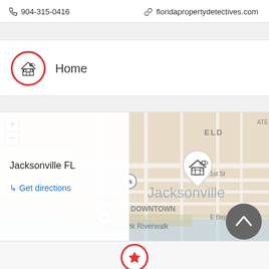904-315-0416   floridapropertydetectives.com
Home
Jacksonville FL
↳ Get directions
[Figure (map): Google Maps view of Jacksonville FL downtown area with a house-shaped map pin marker, showing downtown Jacksonville, Southbank Riverwalk, E 1st St, W Bay St, E Bay St, and surrounding streets.]